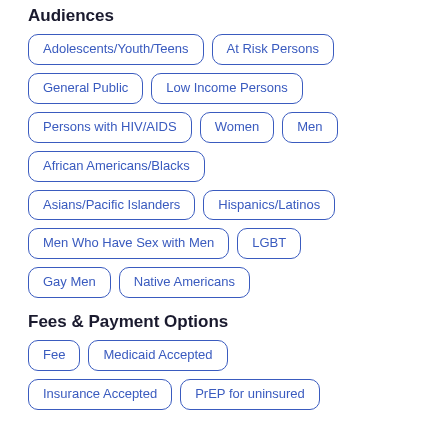Audiences
Adolescents/Youth/Teens
At Risk Persons
General Public
Low Income Persons
Persons with HIV/AIDS
Women
Men
African Americans/Blacks
Asians/Pacific Islanders
Hispanics/Latinos
Men Who Have Sex with Men
LGBT
Gay Men
Native Americans
Fees & Payment Options
Fee
Medicaid Accepted
Insurance Accepted
PrEP for uninsured